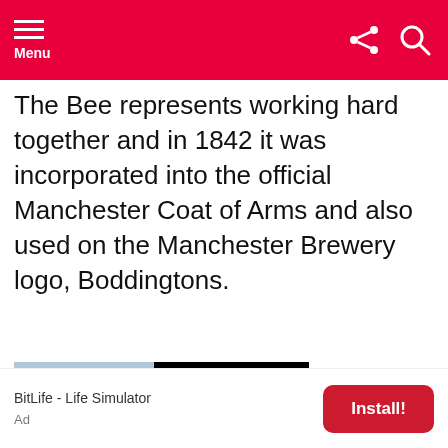Menu
The Bee represents working hard together and in 1842 it was incorporated into the official Manchester Coat of Arms and also used on the Manchester Brewery logo, Boddingtons.
[Figure (photo): DirectRelief advertisement banner showing a helicopter on tarmac with cargo. Text reads: ANYTIME. ANYWHERE. ANYONE IN NEED.]
[Figure (infographic): BitLife - Life Simulator app install advertisement with an Install! button]